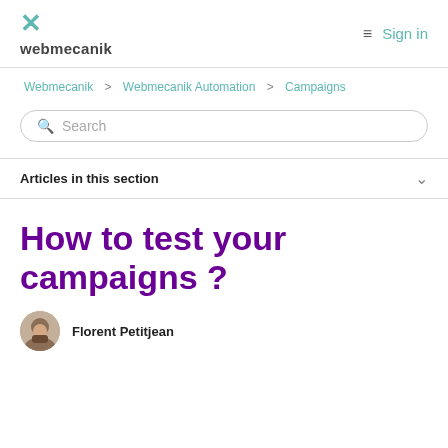webmecanik | Sign in
Webmecanik > Webmecanik Automation > Campaigns
Search
Articles in this section
How to test your campaigns ?
Florent Petitjean